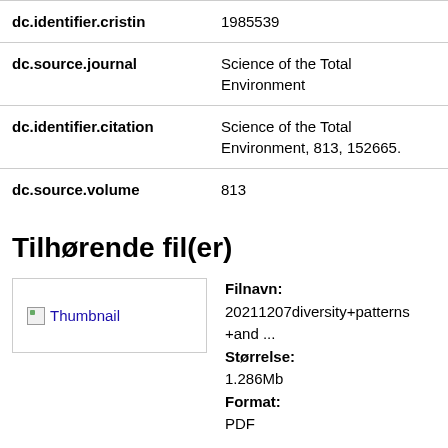| Field | Value |
| --- | --- |
| dc.identifier.cristin | 1985539 |
| dc.source.journal | Science of the Total Environment |
| dc.identifier.citation | Science of the Total Environment, 813, 152665. |
| dc.source.volume | 813 |
Tilhørende fil(er)
[Figure (other): Broken thumbnail image placeholder with link text 'Thumbnail']
Filnavn: 20211207diversity+patterns+and ... Størrelse: 1.286Mb Format: PDF